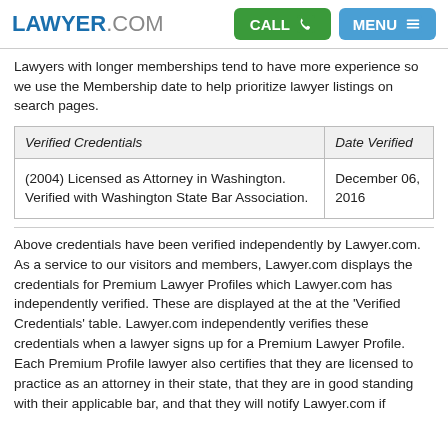LAWYER.COM | CALL | MENU
Lawyers with longer memberships tend to have more experience so we use the Membership date to help prioritize lawyer listings on search pages.
| Verified Credentials | Date Verified |
| --- | --- |
| (2004) Licensed as Attorney in Washington. Verified with Washington State Bar Association. | December 06, 2016 |
Above credentials have been verified independently by Lawyer.com.
As a service to our visitors and members, Lawyer.com displays the credentials for Premium Lawyer Profiles which Lawyer.com has independently verified. These are displayed at the at the 'Verified Credentials' table. Lawyer.com independently verifies these credentials when a lawyer signs up for a Premium Lawyer Profile. Each Premium Profile lawyer also certifies that they are licensed to practice as an attorney in their state, that they are in good standing with their applicable bar, and that they will notify Lawyer.com if